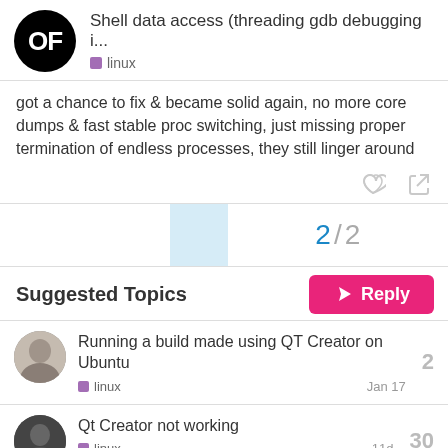Shell data access (threading gdb debugging i... linux
got a chance to fix & became solid again, no more core dumps & fast stable proc switching, just missing proper termination of endless processes, they still linger around
2 / 2
Reply
Suggested Topics
Running a build made using QT Creator on Ubuntu
linux
2
Jan 17
Qt Creator not working
linux
30
11d